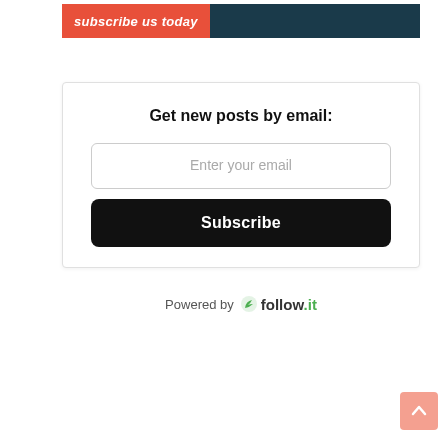subscribe us today
Get new posts by email:
Enter your email
Subscribe
Powered by follow.it